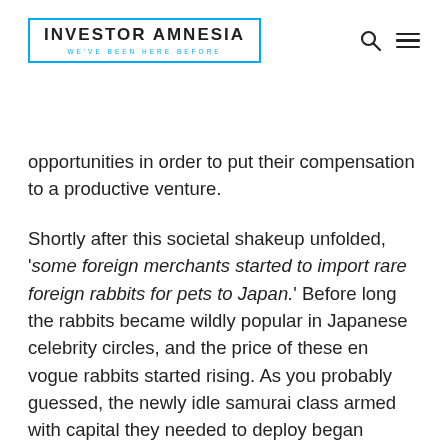INVESTOR AMNESIA — WE'VE BEEN HERE BEFORE
opportunities in order to put their compensation to a productive venture.
Shortly after this societal shakeup unfolded, 'some foreign merchants started to import rare foreign rabbits for pets to Japan.' Before long the rabbits became wildly popular in Japanese celebrity circles, and the price of these en vogue rabbits started rising. As you probably guessed, the newly idle samurai class armed with capital they needed to deploy began buying/selling rabbits, as well as